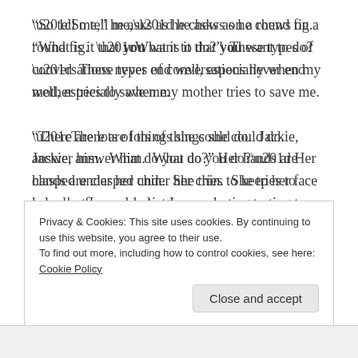“So tell me,” he asks as he chews on a round fig.  “What is it that you want to do?”  These types of conversations never end well, especially when my mother tries to save me.
“There are lots of things she could do.  Jackie, answer him.  What do you do?” Her hands are clasped under her chin.  She tries to keep her face calm, but I see a darting nervousness starting to brew in her eyes.
“Nada, I haven’t been able to find a job.”
Privacy & Cookies: This site uses cookies. By continuing to use this website, you agree to their use.
To find out more, including how to control cookies, see here: Cookie Policy